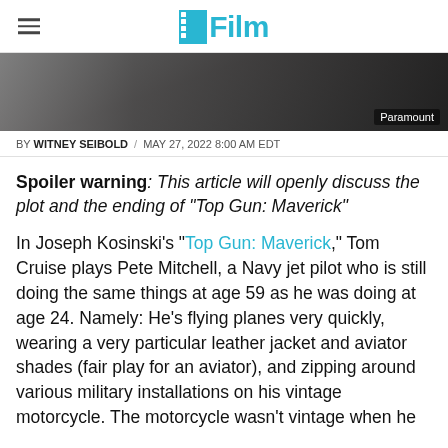/Film
[Figure (photo): Dark cinematic hero image with a blurred figure, credited to Paramount]
BY WITNEY SEIBOLD / MAY 27, 2022 8:00 AM EDT
Spoiler warning: This article will openly discuss the plot and the ending of "Top Gun: Maverick"
In Joseph Kosinski's "Top Gun: Maverick," Tom Cruise plays Pete Mitchell, a Navy jet pilot who is still doing the same things at age 59 as he was doing at age 24. Namely: He's flying planes very quickly, wearing a very particular leather jacket and aviator shades (fair play for an aviator), and zipping around various military installations on his vintage motorcycle. The motorcycle wasn't vintage when he